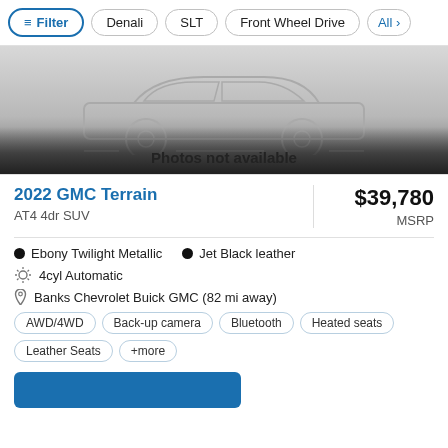Filter | Denali | SLT | Front Wheel Drive | All
[Figure (illustration): Car silhouette placeholder graphic with 'Photos not available' overlay text]
2022 GMC Terrain
AT4 4dr SUV
$39,780
MSRP
Ebony Twilight Metallic  Jet Black leather
4cyl Automatic
Banks Chevrolet Buick GMC (82 mi away)
AWD/4WD
Back-up camera
Bluetooth
Heated seats
Leather Seats
+more